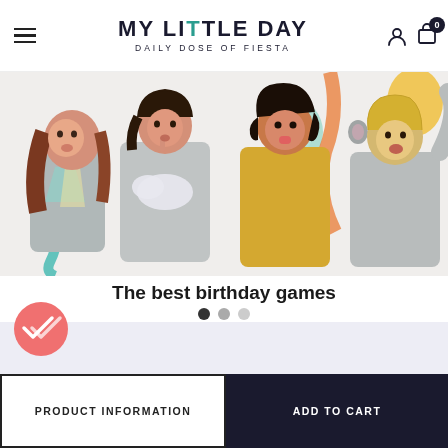MY LITTLE DAY — DAILY DOSE OF FIESTA
[Figure (photo): Four children making funny faces at a birthday party, wearing casual clothes in gray, yellow, and teal, with colorful decorations in the background including pom-poms and balloons.]
The best birthday games
[Figure (other): Carousel pagination dots — one dark (active), one medium gray, one light gray]
[Figure (other): Pink circular checkmark/double-check badge icon]
PRODUCT INFORMATION
ADD TO CART